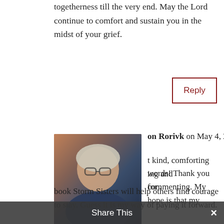togetherness till the very end. May the Lord continue to comfort and sustain you in the midst of your grief.
Reply
Alison Rorivk on May 4, 2016 at 5:04 pm
[Figure (photo): Profile photo of Alison Rorivk, a woman with short light hair and glasses, smiling, wearing a dark jacket, in front of a brick wall background.]
Such kind, comforting words! Thank you for reading and commenting. My hope is that my book Storm Sisters will help others find courage to stay. Guess it is my way of paying it forward.
Reply
Lori on May 5, 2016 at 10:05 am
[Figure (photo): Profile photo of Lori, a woman with blonde hair.]
…d that. A beautifully written tribute to your
Share This